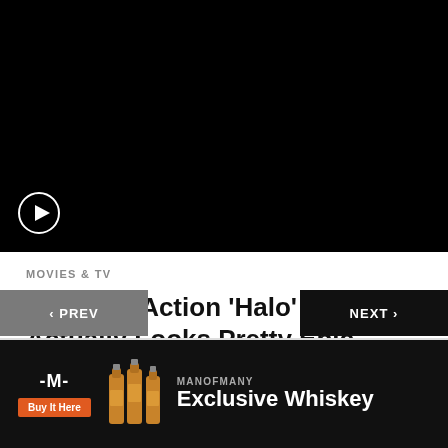[Figure (screenshot): Black video player area with a play button (circle with triangle) in the bottom-left corner]
MOVIES & TV
The Live-Action ‘Halo’ Trailer Actually Looks Pretty Epic
< PREV
NEXT >
[Figure (advertisement): Man of Many advertisement banner for Exclusive Whiskey with logo, whiskey bottles image, Buy It Here button, brand name and product name]